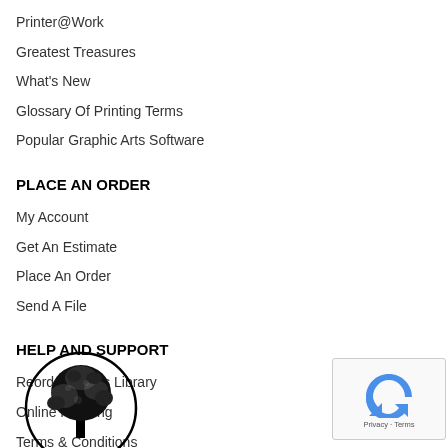Printer@Work
Greatest Treasures
What's New
Glossary Of Printing Terms
Popular Graphic Arts Software
PLACE AN ORDER
My Account
Get An Estimate
Place An Order
Send A File
HELP AND SUPPORT
Reorder Forms Library
Online Proofing
Terms & Conditions
[Figure (logo): Circular black and white logo with a tree illustration]
[Figure (other): reCAPTCHA widget with Privacy and Terms links]